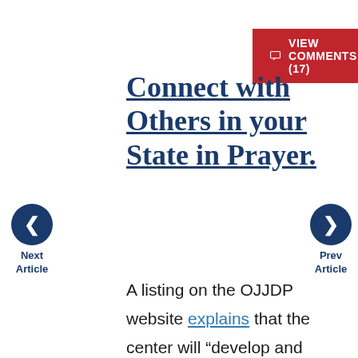[Figure (other): Red button with chat icon and text VIEW COMMENTS (17)]
Connect with Others in your State in Prayer.
[Figure (other): Left navigation arrow button with label Next Article]
[Figure (other): Right navigation arrow button with label Prev Article]
A listing on the OJJDP website explains that the center will “develop and disseminate resources (e.g., fact